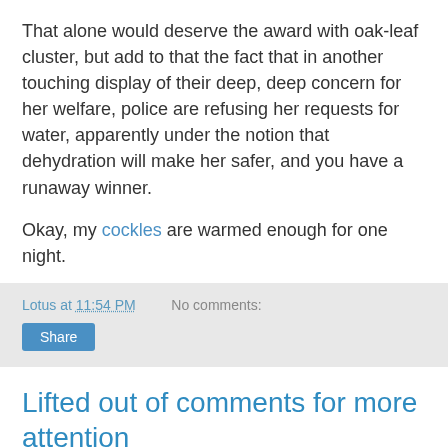That alone would deserve the award with oak-leaf cluster, but add to that the fact that in another touching display of their deep, deep concern for her welfare, police are refusing her requests for water, apparently under the notion that dehydration will make her safer, and you have a runaway winner.
Okay, my cockles are warmed enough for one night.
Lotus at 11:54 PM   No comments:
Share
Lifted out of comments for more attention
Tim at Democratic Left Infoasis lets us know that this page at CNN has links to 28 organizations accepting donations for relief work among those devastated by the tsunami that